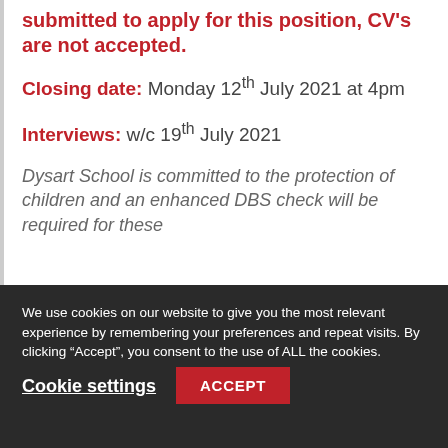submitted to apply for this position, CV's are not accepted.
Closing date: Monday 12th July 2021 at 4pm
Interviews: w/c 19th July 2021
Dysart School is committed to the protection of children and an enhanced DBS check will be required for these
We use cookies on our website to give you the most relevant experience by remembering your preferences and repeat visits. By clicking “Accept”, you consent to the use of ALL the cookies.
Cookie settings
ACCEPT